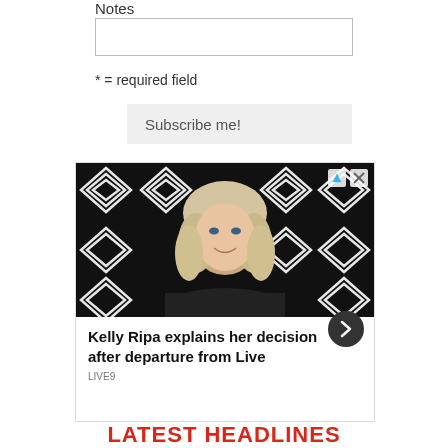Notes
* = required field
Subscribe me!
[Figure (photo): Advertisement showing a blonde woman (Kelly Ripa) against a black and white geometric diamond pattern background. Below the image: 'Kelly Ripa explains her decision after departure from Live' with a circular arrow button and source label 'LIVE9'. Ad control icons visible top right.]
LATEST HEADLINES